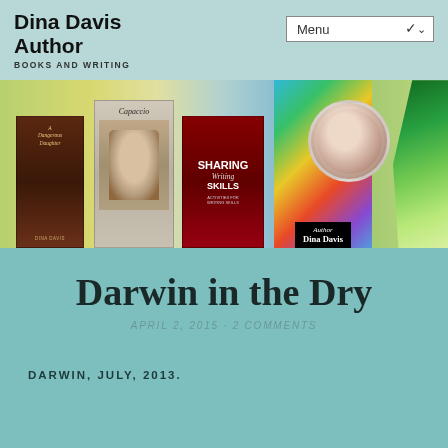Dina Davis Author
BOOKS AND WRITING
[Figure (screenshot): Website header banner showing book covers (A Dangerous Daughter, Capaccio, Sharing Writing Skills), colorful abstract art, Author Dina Davis badge, and a circular portrait photo of an older woman, with green swirl decoration on the right.]
Darwin in the Dry
APRIL 2, 2015 · 2 COMMENTS
DARWIN, JULY, 2013.